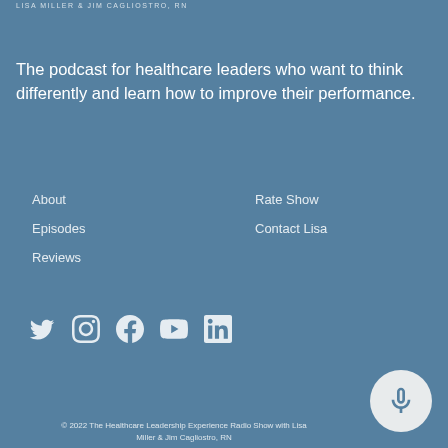LISA MILLER & JIM CAGLIOSTRO, RN
The podcast for healthcare leaders who want to think differently and learn how to improve their performance.
About
Episodes
Reviews
Rate Show
Contact Lisa
[Figure (illustration): Social media icons: Twitter, Instagram, Facebook, YouTube, LinkedIn]
© 2022 The Healthcare Leadership Experience Radio Show with Lisa Miller & Jim Cagliostro, RN